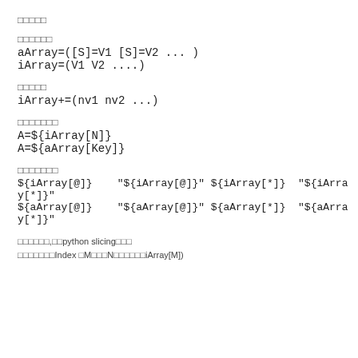□□□□□
□□□□□□
aArray=([S]=V1 [S]=V2 ... )
iArray=(V1 V2 ....)
□□□□□
iArray+=(nv1 nv2 ...)
□□□□□□□
A=${iArray[N]}
A=${aArray[Key]}
□□□□□□□
${iArray[@]}    "${iArray[@]}" ${iArray[*]}  "${iArray[*]}"
${aArray[@]}    "${aArray[@]}" ${aArray[*]}  "${aArray[*]}"
□□□□□□,□□python slicing□□□
□□□□□□□Index □M□□□N□□□□□□iArray[M])